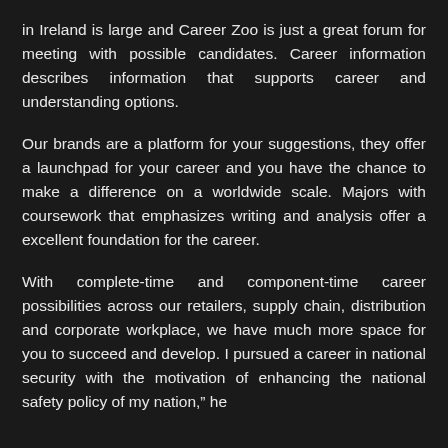in Ireland is large and Career Zoo is just a great forum for meeting with possible candidates. Career information describes information that supports career and understanding options.
Our brands are a platform for your suggestions, they offer a launchpad for your career and you have the chance to make a difference on a worldwide scale. Majors with coursework that emphasizes writing and analysis offer a excellent foundation for the career.
With complete-time and component-time career possibilities across our retailers, supply chain, distribution and corporate workplace, we have much more space for you to succeed and develop. I pursued a career in national security with the motivation of enhancing the national safety policy of my nation," he